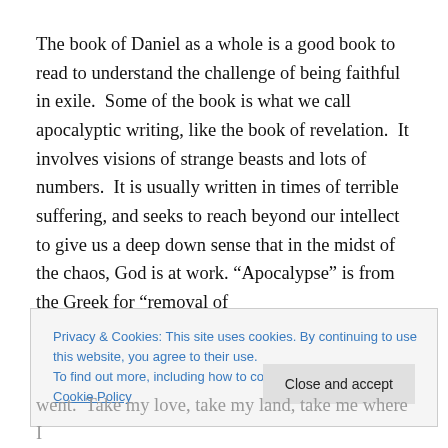The book of Daniel as a whole is a good book to read to understand the challenge of being faithful in exile.  Some of the book is what we call apocalyptic writing, like the book of revelation.  It involves visions of strange beasts and lots of numbers.  It is usually written in times of terrible suffering, and seeks to reach beyond our intellect to give us a deep down sense that in the midst of the chaos, God is at work. “Apocalypse” is from the Greek for “removal of
Privacy & Cookies: This site uses cookies. By continuing to use this website, you agree to their use.
To find out more, including how to control cookies, see here: Cookie Policy
Close and accept
went.  Take my love, take my land, take me where I